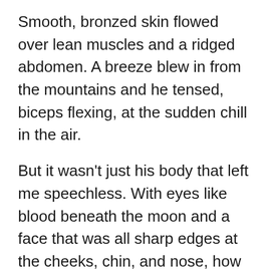Smooth, bronzed skin flowed over lean muscles and a ridged abdomen. A breeze blew in from the mountains and he tensed, biceps flexing, at the sudden chill in the air.
But it wasn't just his body that left me speechless. With eyes like blood beneath the moon and a face that was all sharp edges at the cheeks, chin, and nose, how could I be faulted for staring?
Someone handed him a towel, and he rubbed the cloth over his chest, the movement both efficient and suggestive. My stomach skittered, and I had to force myself not to look